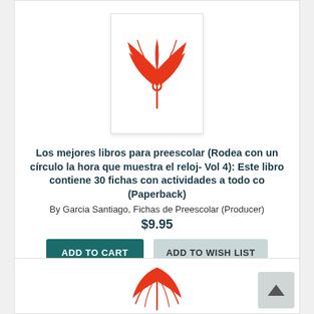[Figure (logo): Red illustrated logo with stylized leaf/plant and letter i design on white background with border]
Los mejores libros para preescolar (Rodea con un círculo la hora que muestra el reloj- Vol 4): Este libro contiene 30 fichas con actividades a todo co (Paperback)
By Garcia Santiago, Fichas de Preescolar (Producer)
$9.95
ADD TO CART
ADD TO WISH LIST
Usually Ships in 1-5 Days
[Figure (logo): Partial red illustrated logo on white background, same style as above, partially visible at bottom]